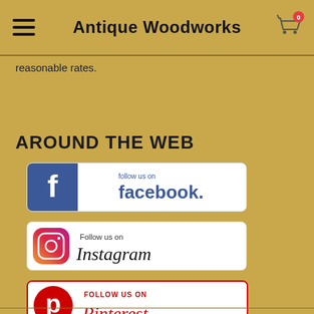Antique Woodworks
reasonable rates.
AROUND THE WEB
[Figure (logo): Follow us on Facebook button with blue Facebook logo and text 'follow us on facebook']
[Figure (logo): Follow us on Instagram button with Instagram gradient camera logo and script text 'Follow us on Instagram']
[Figure (logo): Follow us on Pinterest button with red Pinterest P logo and script text 'FOLLOW US ON Pinterest']